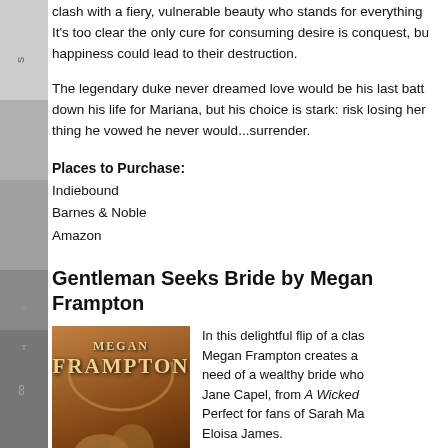clash with a fiery, vulnerable beauty who stands for everything It's too clear the only cure for consuming desire is conquest, but happiness could lead to their destruction.
The legendary duke never dreamed love would be his last battle. He'd lay down his life for Mariana, but his choice is stark: risk losing her or do the one thing he vowed he never would...surrender.
Places to Purchase:
Indiebound
Barnes & Noble
Amazon
Gentleman Seeks Bride by Megan Frampton
[Figure (photo): Book cover for Gentleman Seeks Bride by Megan Frampton, showing a romantic couple on a warm amber-toned background with the author name in large letters.]
In this delightful flip of a classic Megan Frampton creates a need of a wealthy bride who Jane Capel, from A Wicked Perfect for fans of Sarah Ma Eloisa James.